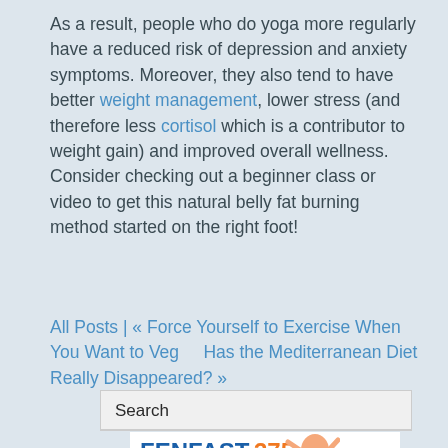As a result, people who do yoga more regularly have a reduced risk of depression and anxiety symptoms. Moreover, they also tend to have better weight management, lower stress (and therefore less cortisol which is a contributor to weight gain) and improved overall wellness. Consider checking out a beginner class or video to get this natural belly fat burning method started on the right foot!
All Posts | « Force Yourself to Exercise When You Want to Veg      Has the Mediterranean Diet Really Disappeared? »
Search
[Figure (photo): FENFAST 375 advertisement with a person with arms raised]